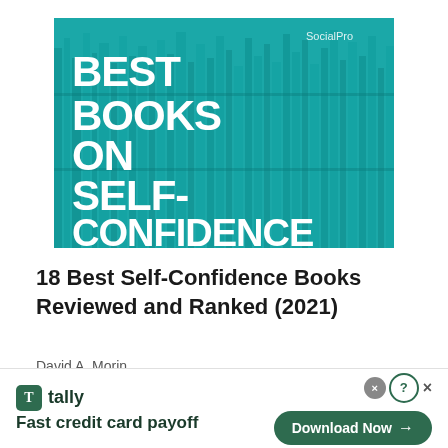[Figure (illustration): Teal-colored banner image with bookshelves in the background. Large white bold text reads 'BEST BOOKS ON SELF-CONFIDENCE'. Small text 'SocialPro' in top right corner.]
18 Best Self-Confidence Books Reviewed and Ranked (2021)
David A. Morin
[Figure (infographic): Advertisement banner for Tally app. Left side shows Tally logo (green square with T) and text 'tally' and 'Fast credit card payoff'. Right side shows a green 'Download Now →' button. Top right has a gray close circle and help/X buttons.]